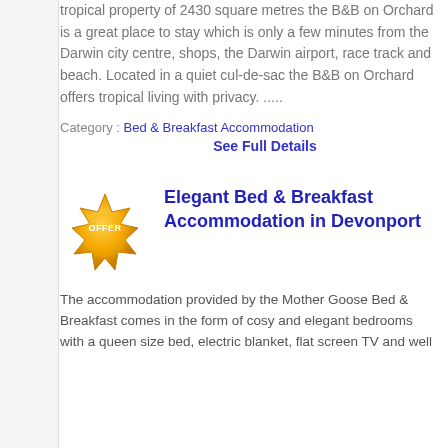tropical property of 2430 square metres the B&B on Orchard is a great place to stay which is only a few minutes from the Darwin city centre, shops, the Darwin airport, race track and beach. Located in a quiet cul-de-sac the B&B on Orchard offers tropical living with privacy. .....
Category : Bed & Breakfast Accommodation
See Full Details
[Figure (illustration): Gold star-shaped offer badge with text OFFER]
Elegant Bed & Breakfast Accommodation in Devonport
The accommodation provided by the Mother Goose Bed & Breakfast comes in the form of cosy and elegant bedrooms with a queen size bed, electric blanket, flat screen TV and well